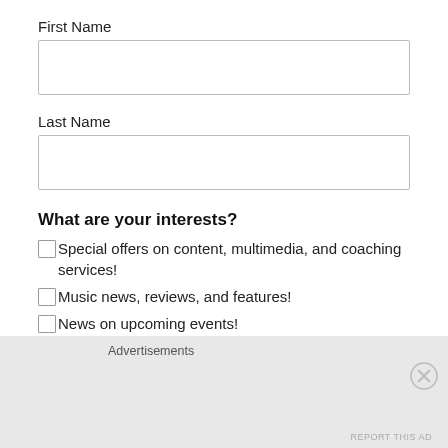First Name
[Figure (other): Empty text input field for First Name]
Last Name
[Figure (other): Empty text input field for Last Name]
What are your interests?
Special offers on content, multimedia, and coaching services!
Music news, reviews, and features!
News on upcoming events!
Email Format
html
text
Advertisements
REPORT THIS AD